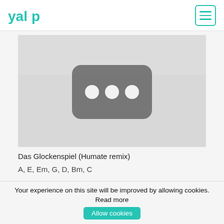yalp [logo] [hamburger menu]
[Figure (screenshot): Thumbnail placeholder image with a dark rounded rectangle containing three white circles on a light grey background, resembling a YouTube video thumbnail placeholder.]
Das Glockenspiel (Humate remix)
A, E, Em, G, D, Bm, C
[Figure (screenshot): Partially visible thumbnail image showing a light blue sky with tree branches, cropped at the bottom of the page.]
Your experience on this site will be improved by allowing cookies. Read more
Allow cookies